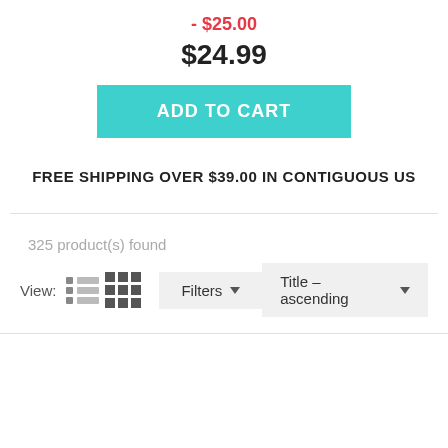- $25.00
$24.99
ADD TO CART
FREE SHIPPING OVER $39.00 IN CONTIGUOUS US
325 product(s) found
View: [list icon] [grid icon] Filters ▾  Title – ascending ▾